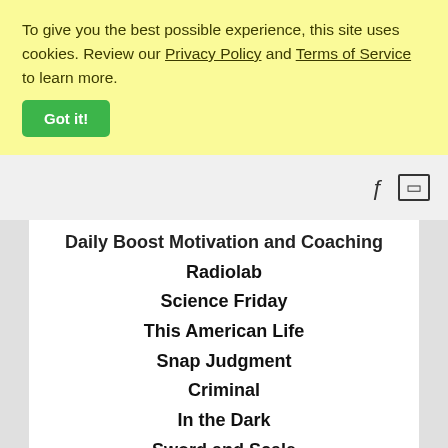To give you the best possible experience, this site uses cookies. Review our Privacy Policy and Terms of Service to learn more.
Got it!
Daily Boost Motivation and Coaching
Radiolab
Science Friday
This American Life
Snap Judgment
Criminal
In the Dark
Sword and Scale